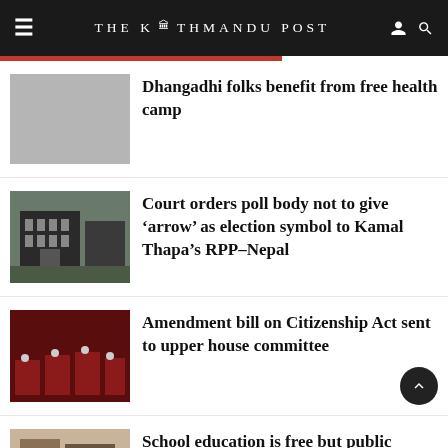THE KATHMANDU POST
Dhangadhi folks benefit from free health camp
Court orders poll body not to give ‘arrow’ as election symbol to Kamal Thapa’s RPP-Nepal
Amendment bill on Citizenship Act sent to upper house committee
School education is free but public